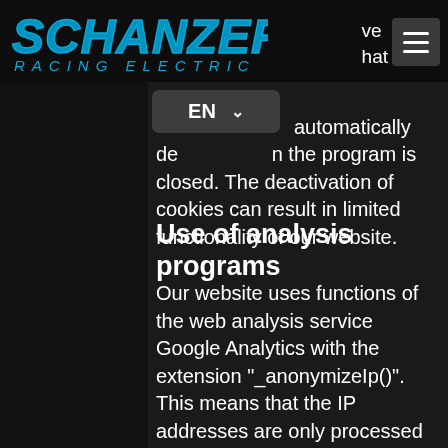SCHANZER RACING ELECTRIC
co… automatically de… n the program is closed. The deactivation of cookies can result in limited functionality of our website.
Use of analysis programs
Our website uses functions of the web analysis service Google Analytics with the extension "_anonymizeIp()". This means that the IP addresses are only processed in abbreviated form in order to rule out direct personal reference. The provider of the web analysis service is Google Inc., 1600 Amphitheater Parkway, Mountain View, CA